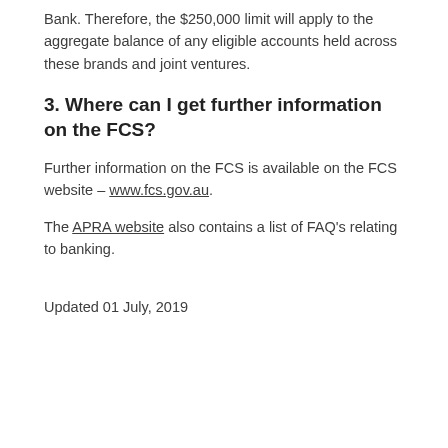Bank. Therefore, the $250,000 limit will apply to the aggregate balance of any eligible accounts held across these brands and joint ventures.
3. Where can I get further information on the FCS?
Further information on the FCS is available on the FCS website – www.fcs.gov.au.
The APRA website also contains a list of FAQ's relating to banking.
Updated 01 July, 2019